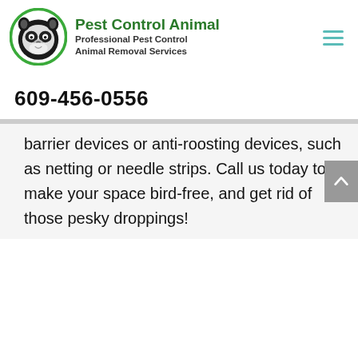[Figure (logo): Pest Control Animal logo: circular green-bordered icon with a raccoon face, next to bold green text 'Pest Control Animal' and subtitle 'Professional Pest Control Animal Removal Services']
609-456-0556
barrier devices or anti-roosting devices, such as netting or needle strips. Call us today to make your space bird-free, and get rid of those pesky droppings!